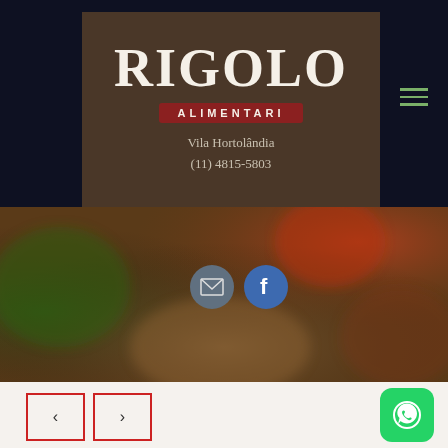[Figure (logo): Rigolo Alimentari logo on dark brown background with store name, subtitle badge, and contact info]
[Figure (photo): Blurred food photo showing pizza or similar dish with tomatoes and herbs]
Vila Hortolândia
(11) 4815-5803
[Figure (infographic): Social media icons: email envelope and Facebook 'f' on dark circular backgrounds]
[Figure (infographic): Navigation previous/next arrow buttons with red borders and WhatsApp green button]